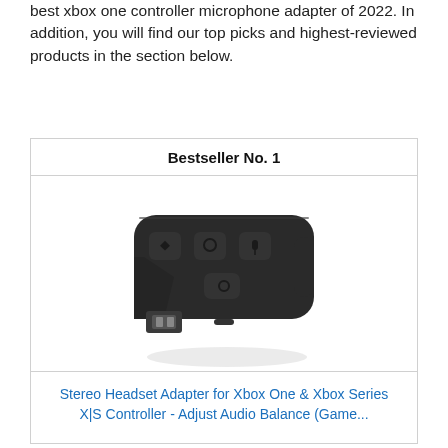best xbox one controller microphone adapter of 2022. In addition, you will find our top picks and highest-reviewed products in the section below.
Bestseller No. 1
[Figure (photo): Photo of a black Xbox One stereo headset adapter device with multiple buttons and a USB connector protruding from the bottom.]
Stereo Headset Adapter for Xbox One & Xbox Series X|S Controller - Adjust Audio Balance (Game...